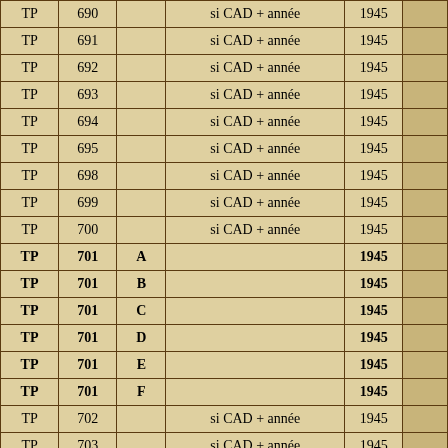| TP | 690 |  | si CAD + année | 1945 |  |
| TP | 691 |  | si CAD + année | 1945 |  |
| TP | 692 |  | si CAD + année | 1945 |  |
| TP | 693 |  | si CAD + année | 1945 |  |
| TP | 694 |  | si CAD + année | 1945 |  |
| TP | 695 |  | si CAD + année | 1945 |  |
| TP | 698 |  | si CAD + année | 1945 |  |
| TP | 699 |  | si CAD + année | 1945 |  |
| TP | 700 |  | si CAD + année | 1945 |  |
| TP | 701 | A |  | 1945 |  |
| TP | 701 | B |  | 1945 |  |
| TP | 701 | C |  | 1945 |  |
| TP | 701 | D |  | 1945 |  |
| TP | 701 | E |  | 1945 |  |
| TP | 701 | F |  | 1945 |  |
| TP | 702 |  | si CAD + année | 1945 |  |
| TP | 703 |  | si CAD + année | 1945 |  |
| TP | 704 |  | si CAD + année | 1945 |  |
| TP | 705 |  | si CAD + année | 1945 |  |
| TP | 707 |  | si CAD + année | 1945 |  |
| TP | 708 |  | si CAD + année | 1945 |  |